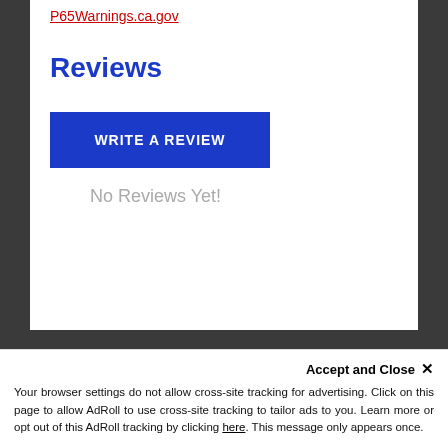P65Warnings.ca.gov
Reviews
WRITE A REVIEW
No Reviews Yet!
Accept and Close ✕
Your browser settings do not allow cross-site tracking for advertising. Click on this page to allow AdRoll to use cross-site tracking to tailor ads to you. Learn more or opt out of this AdRoll tracking by clicking here. This message only appears once.